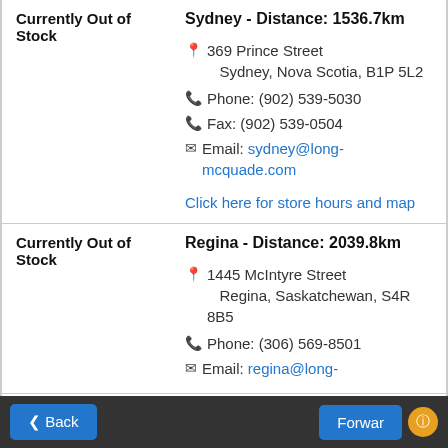Currently Out of Stock | Sydney - Distance: 1536.7km | 369 Prince Street Sydney, Nova Scotia, B1P 5L2 | Phone: (902) 539-5030 | Fax: (902) 539-0504 | Email: sydney@long-mcquade.com | Click here for store hours and map
Currently Out of Stock | Regina - Distance: 2039.8km | 1445 McIntyre Street Regina, Saskatchewan, S4R 8B5 | Phone: (306) 569-8501 | Email: regina@long-mcquade.com
Back | Forward